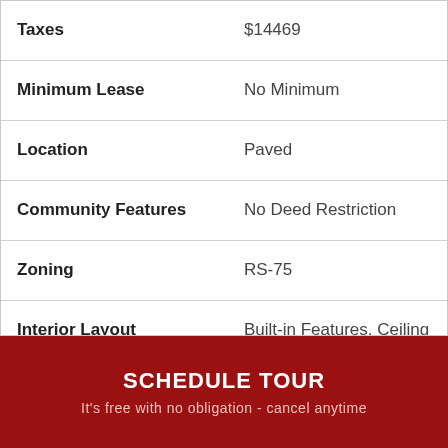| Field | Value |
| --- | --- |
| Taxes | $14469 |
| Minimum Lease | No Minimum |
| Location | Paved |
| Community Features | No Deed Restriction |
| Zoning | RS-75 |
| Interior Layout | Built-in Features, Ceiling Fans(s), Eat-in Kitchen, High Ceilings, Kitchen/Family Room Combo, Master Bedroom Upstairs, Open Floorplan, Stor... |
SCHEDULE TOUR
It's free with no obligation - cancel anytime